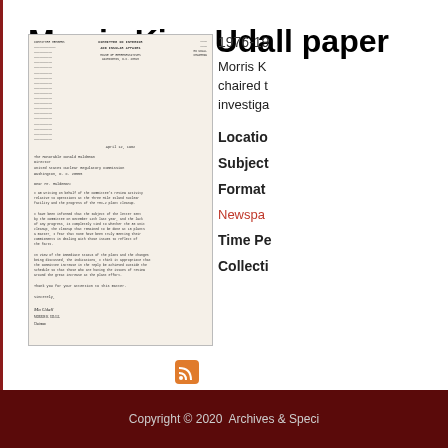Morris King Udall paper
1976-19
Morris K chaired t investiga
[Figure (photo): Scanned letter on Committee on Interior and Insular Affairs letterhead, signed by Mo Udall]
Locatio
Subject
Format
Newspa
Time Pe
Collecti
Copyright © 2020  Archives & Speci